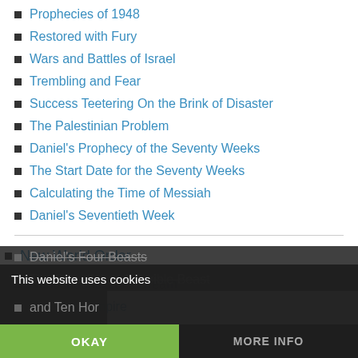Prophecies of 1948
Restored with Fury
Wars and Battles of Israel
Trembling and Fear
Success Teetering On the Brink of Disaster
The Palestinian Problem
Daniel's Prophecy of the Seventy Weeks
The Start Date for the Seventy Weeks
Calculating the Time of Messiah
Daniel's Seventieth Week
New World Order
Nebuchadnezzar's Dream
The Final Empire
Daniel's Four Beasts
The Dreadful and Terrible Beast
and Ten Hor
This website uses cookies
OKAY
MORE INFO